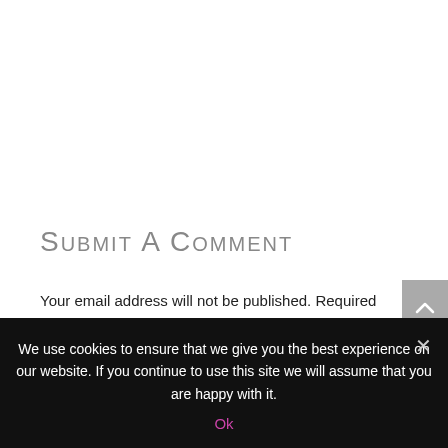Submit a Comment
Your email address will not be published. Required fields are marked *
We use cookies to ensure that we give you the best experience on our website. If you continue to use this site we will assume that you are happy with it.
Ok